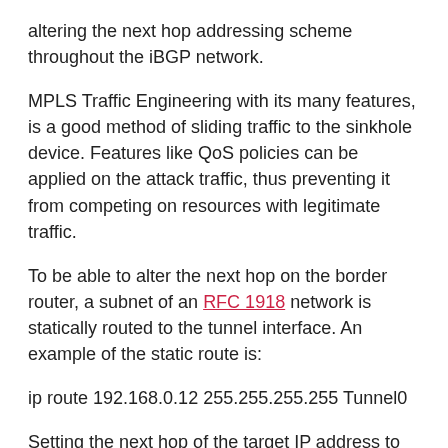altering the next hop addressing scheme throughout the iBGP network.
MPLS Traffic Engineering with its many features, is a good method of sliding traffic to the sinkhole device. Features like QoS policies can be applied on the attack traffic, thus preventing it from competing on resources with legitimate traffic.
To be able to alter the next hop on the border router, a subnet of an RFC 1918 network is statically routed to the tunnel interface. An example of the static route is:
ip route 192.168.0.12 255.255.255.255 Tunnel0
Setting the next hop of the target IP address to 192.168.0.12/32 will force the traffic to go through the tunnel.
Traffic is received at the sinkhole interface via the TE tunnel. Subsequently, three methods could be installed, namely rate-limiting policies, QoS policies, and access lists. These